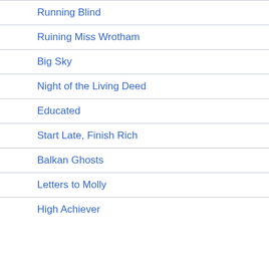Running Blind
Ruining Miss Wrotham
Big Sky
Night of the Living Deed
Educated
Start Late, Finish Rich
Balkan Ghosts
Letters to Molly
High Achiever